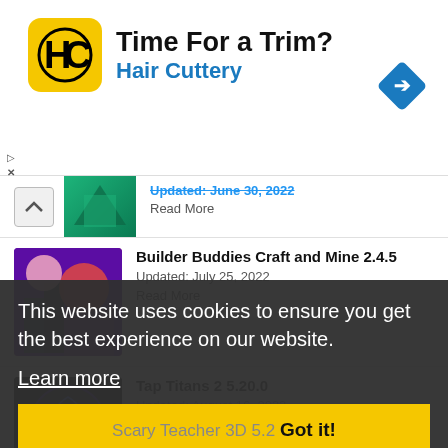[Figure (screenshot): Ad banner for Hair Cuttery: yellow square logo with HC text, headline 'Time For a Trim?' and subtext 'Hair Cuttery' in blue, blue diamond navigation arrow on right]
Updated: June 30, 2022
Read More
Builder Buddies Craft and Mine 2.4.5
Updated: July 25, 2022
Read More
Tap Titans 2 5.20.0
Updated: August 16, 2022
Read More
Updated: August 20, 2022
Read More
Scary Teacher 3D 5.2
Updated: July 27, 2022
Read More
This website uses cookies to ensure you get the best experience on our website.
Learn more
Got it!